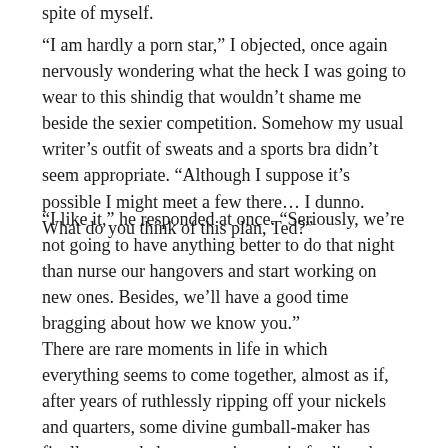spite of myself.
“I am hardly a porn star,” I objected, once again nervously wondering what the heck I was going to wear to this shindig that wouldn’t shame me beside the sexier competition. Somehow my usual writer’s outfit of sweats and a sports bra didn’t seem appropriate. “Although I suppose it’s possible I might meet a few there… I dunno. What do you think of this plan, Ted?”
“I like it,” he responded at once. “Seriously, we’re not going to have anything better to do that night than nurse our hangovers and start working on new ones. Besides, we’ll have a good time bragging about how we know you.”
There are rare moments in life in which everything seems to come together, almost as if, after years of ruthlessly ripping off your nickels and quarters, some divine gumball-maker has finally rewarded your persistence in feeding the machine by